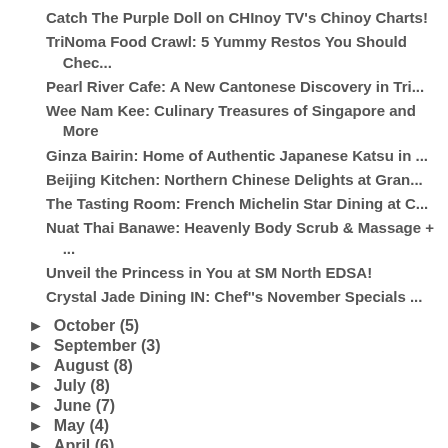Catch The Purple Doll on CHInoy TV's Chinoy Charts!
TriNoma Food Crawl: 5 Yummy Restos You Should Chec...
Pearl River Cafe: A New Cantonese Discovery in Tri...
Wee Nam Kee: Culinary Treasures of Singapore and More
Ginza Bairin: Home of Authentic Japanese Katsu in ...
Beijing Kitchen: Northern Chinese Delights at Gran...
The Tasting Room: French Michelin Star Dining at C...
Nuat Thai Banawe: Heavenly Body Scrub & Massage + ...
Unveil the Princess in You at SM North EDSA!
Crystal Jade Dining IN: Chef''s November Specials ...
► October (5)
► September (3)
► August (8)
► July (8)
► June (7)
► May (4)
► April (6)